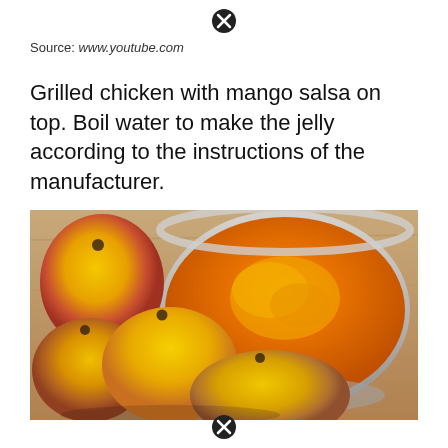[Figure (other): Close/dismiss button (X icon) at top center]
Source: www.youtube.com
Grilled chicken with mango salsa on top. Boil water to make the jelly according to the instructions of the manufacturer.
[Figure (photo): Photo of mangoes and a metal bowl containing orange mango curry/salsa, placed on a wooden surface]
[Figure (other): Close/dismiss button (X icon) at bottom center]